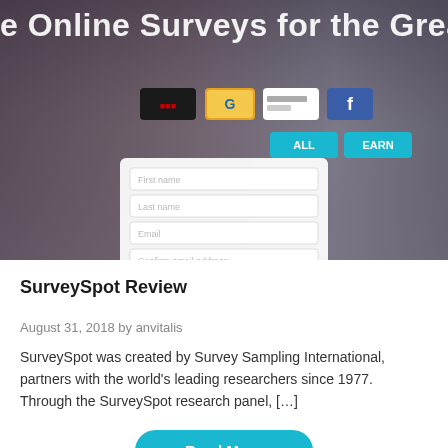[Figure (screenshot): Screenshot of a SurveySpot website showing a registration form with fields for first name, last name, email, and confirm email address. Background shows two people smiling. White text at top reads 'e Online Surveys for the Greatest Rewa…'. Social/payment icons visible near top center. Red button at bottom. Teal/blue UI buttons visible.]
SurveySpot Review
August 31, 2018 by anvitalis
SurveySpot was created by Survey Sampling International, partners with the world’s leading researchers since 1977. Through the SurveySpot research panel, […]
Read More